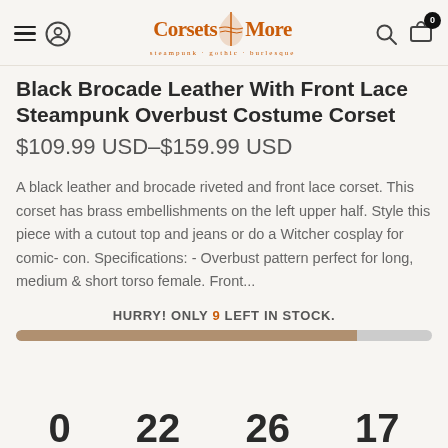Corsets N More - steampunk · gothic · burlesque
Black Brocade Leather With Front Lace Steampunk Overbust Costume Corset
$109.99 USD–$159.99 USD
A black leather and brocade riveted and front lace corset. This corset has brass embellishments on the left upper half. Style this piece with a cutout top and jeans or do a Witcher cosplay for comic- con. Specifications: - Overbust pattern perfect for long, medium & short torso female. Front...
HURRY! ONLY 9 LEFT IN STOCK.